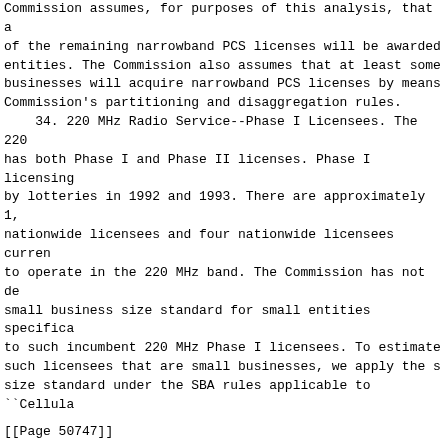Commission assumes, for purposes of this analysis, that a of the remaining narrowband PCS licenses will be awarded entities. The Commission also assumes that at least some businesses will acquire narrowband PCS licenses by means Commission's partitioning and disaggregation rules.
    34. 220 MHz Radio Service--Phase I Licensees. The 220 has both Phase I and Phase II licenses. Phase I licensing by lotteries in 1992 and 1993. There are approximately 1, nationwide licensees and four nationwide licensees curren to operate in the 220 MHz band. The Commission has not de small business size standard for small entities specifica to such incumbent 220 MHz Phase I licensees. To estimate such licensees that are small businesses, we apply the s size standard under the SBA rules applicable to ``Cellula
[[Page 50747]]
Wireless Telecommunications'' companies. Under this categ deems a wireless business to be small if it has 1,500 or employees. The Commission estimates that nearly all such small businesses under the SBA's small business size star
    35. 220 MHz Radio Service--Phase II Licensees. The 22 has both Phase I and Phase II licenses. The Phase II 220 a new service, and is subject to spectrum auctions. In th Third Report and Order, we adopted a small business size ``small'' and ``very small'' businesses for purposes of d their eligibility for special provisions such as bidding installment payments. This small business size standard i a ``small business'' is an entity that, together with its and controlling principals, has average gross revenues no $15 million for the preceding three years. A ``very smal